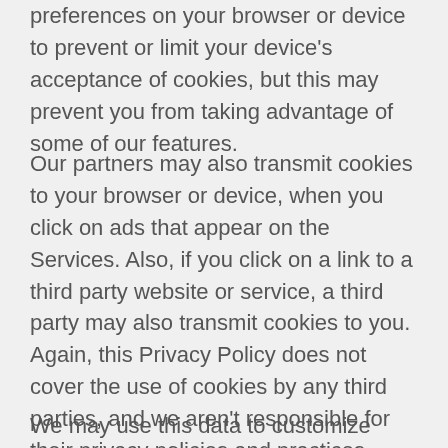preferences on your browser or device to prevent or limit your device's acceptance of cookies, but this may prevent you from taking advantage of some of our features.
Our partners may also transmit cookies to your browser or device, when you click on ads that appear on the Services. Also, if you click on a link to a third party website or service, a third party may also transmit cookies to you.  Again, this Privacy Policy does not cover the use of cookies by any third parties, and we aren't responsible for their privacy policies and practices. Please be aware that cookies placed by third parties may continue to track your activities online even after you have left our Services, and those third parties may not honor “Do Not Track” requests you have set using your browser or device.
We may use this data to customize content for